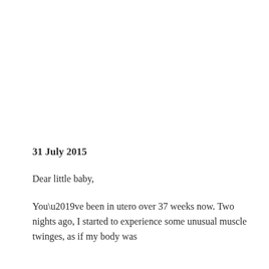31 July 2015
Dear little baby,
You’ve been in utero over 37 weeks now. Two nights ago, I started to experience some unusual muscle twinges, as if my body was